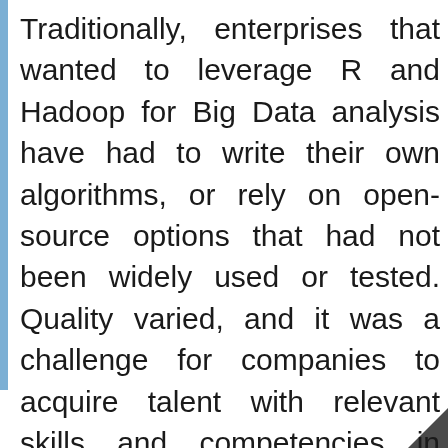Traditionally, enterprises that wanted to leverage R and Hadoop for Big Data analysis have had to write their own algorithms, or rely on open-source options that had not been widely used or tested. Quality varied, and it was a challenge for companies to acquire talent with relevant skills and competencies in order to code their own algorithms. Mu Sigma's offering enables enterprises to accelerate their R and Hadoop initiatives, and their overall Big Data